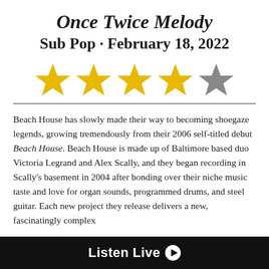Once Twice Melody
Sub Pop · February 18, 2022
[Figure (other): 4 gold stars and 1 gray star rating (4 out of 5 stars)]
Beach House has slowly made their way to becoming shoegaze legends, growing tremendously from their 2006 self-titled debut Beach House. Beach House is made up of Baltimore based duo Victoria Legrand and Alex Scally, and they began recording in Scally's basement in 2004 after bonding over their niche music taste and love for organ sounds, programmed drums, and steel guitar. Each new project they release delivers a new, fascinatingly complex
Listen Live ▶